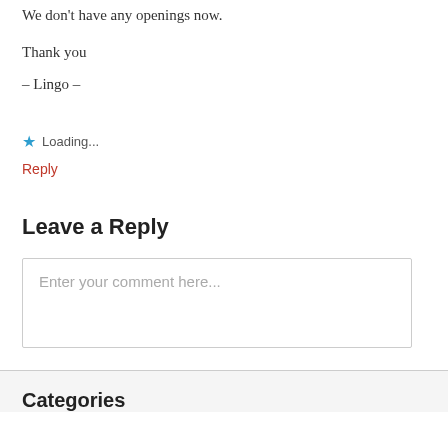We don’t have any openings now.
Thank you
– Lingo –
★ Loading...
Reply
Leave a Reply
Enter your comment here...
Categories